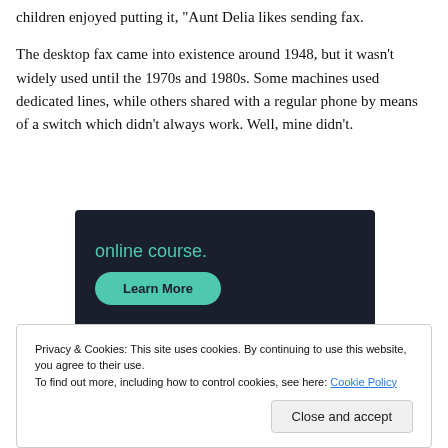children enjoyed putting it, 'Aunt Delia likes sending fax.
The desktop fax came into existence around 1948, but it wasn't widely used until the 1970s and 1980s. Some machines used dedicated lines, while others shared with a regular phone by means of a switch which didn't always work. Well, mine didn't.
[Figure (other): Dark-background advertisement banner showing 'online course.' text in teal and a teal 'Learn More' button.]
Privacy & Cookies: This site uses cookies. By continuing to use this website, you agree to their use.
To find out more, including how to control cookies, see here: Cookie Policy
Close and accept